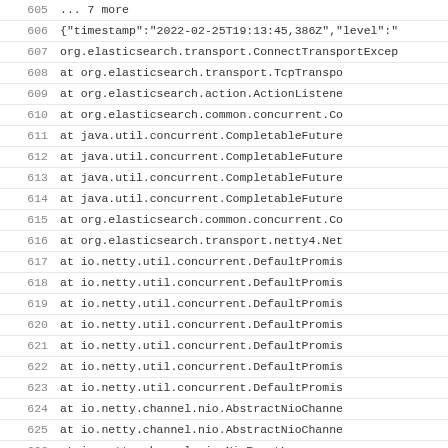605     ... 7 more
606  {"timestamp":"2022-02-25T19:13:45,386Z","level":"...
607  org.elasticsearch.transport.ConnectTransportExcep...
608          at org.elasticsearch.transport.TcpTranspo...
609          at org.elasticsearch.action.ActionListene...
610          at org.elasticsearch.common.concurrent.Co...
611          at java.util.concurrent.CompletableFuture...
612          at java.util.concurrent.CompletableFuture...
613          at java.util.concurrent.CompletableFuture...
614          at java.util.concurrent.CompletableFuture...
615          at org.elasticsearch.common.concurrent.Co...
616          at org.elasticsearch.transport.netty4.Net...
617          at io.netty.util.concurrent.DefaultPromis...
618          at io.netty.util.concurrent.DefaultPromis...
619          at io.netty.util.concurrent.DefaultPromis...
620          at io.netty.util.concurrent.DefaultPromis...
621          at io.netty.util.concurrent.DefaultPromis...
622          at io.netty.util.concurrent.DefaultPromis...
623          at io.netty.util.concurrent.DefaultPromis...
624          at io.netty.channel.nio.AbstractNioChanne...
625          at io.netty.channel.nio.AbstractNioChanne...
626          at io.netty.channel.nio.NioEventLoop.proc...